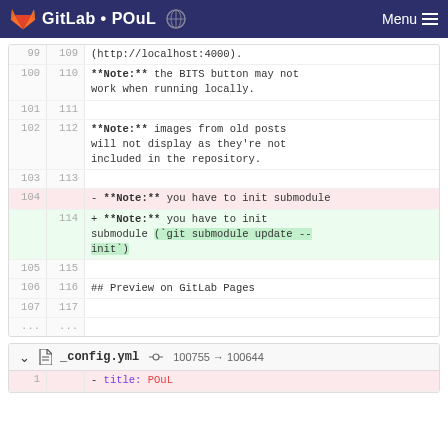GitLab • POuL   Menu
[Figure (screenshot): GitLab diff view showing changes to a README file. Lines 99-117 are shown with context. Line 104 (deleted, red): '- **Note:** you have to init submodule'. Line 114 (added, green): '+ **Note:** you have to init submodule (`git submodule update --init`)'. Other context lines show notes about BITS button and images from old posts, and a section header '## Preview on GitLab Pages'.]
[Figure (screenshot): GitLab diff block header for _config.yml showing file mode change 100755 -> 100644, with first diff line showing '- title: POuL' in red.]